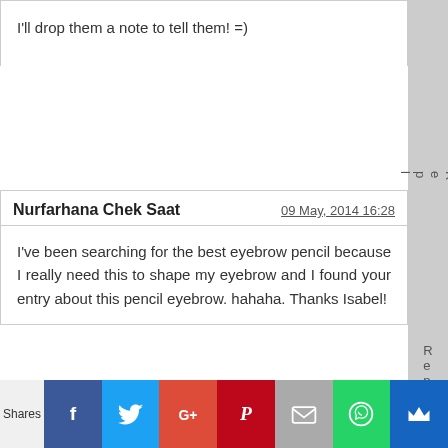I'll drop them a note to tell them! =)
Nurfarhana Chek Saat
09 May, 2014 16:28
I've been searching for the best eyebrow pencil because I really need this to shape my eyebrow and I found your entry about this pencil eyebrow. hahaha. Thanks Isabel!
ISABEL
09 May, 2014 17:40
Still using this until now ^_^